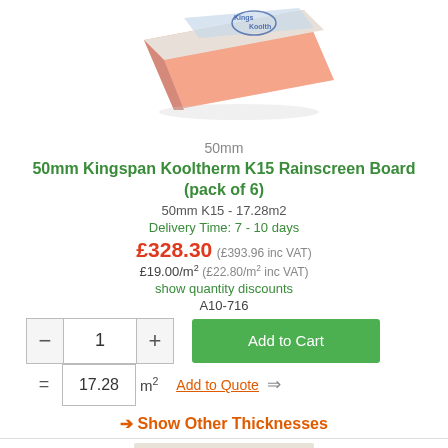[Figure (photo): 50mm Kingspan Kooltherm K15 insulation board shown at an angle, pink core with branded blue/white top surface]
50mm
50mm Kingspan Kooltherm K15 Rainscreen Board (pack of 6)
50mm K15 - 17.28m2
Delivery Time: 7 - 10 days
£328.30 (£393.96 inc VAT)
£19.00/m² (£22.80/m² inc VAT)
show quantity discounts
A10-716
Add to Cart
17.28 m²
Add to Quote
→ Show Other Thicknesses
[Figure (photo): Partial view of a Kingspan insulation board from below, cream/beige surface]